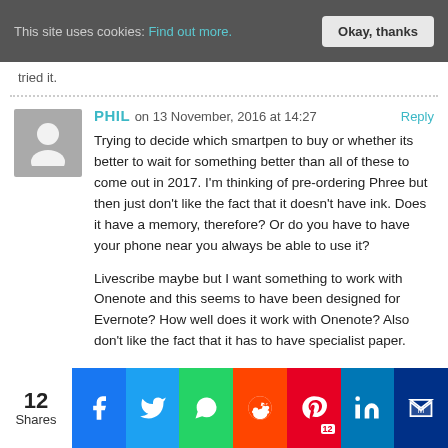This site uses cookies: Find out more. Okay, thanks
tried it.
PHIL on 13 November, 2016 at 14:27 Reply
Trying to decide which smartpen to buy or whether its better to wait for something better than all of these to come out in 2017. I'm thinking of pre-ordering Phree but then just don't like the fact that it doesn't have ink. Does it have a memory, therefore? Or do you have to have your phone near you always be able to use it?

Livescribe maybe but I want something to work with Onenote and this seems to have been designed for Evernote? How well does it work with Onenote? Also don't like the fact that it has to have specialist paper.
12 Shares — Facebook, Twitter, WhatsApp, Reddit, Pinterest (12), LinkedIn, MeWe